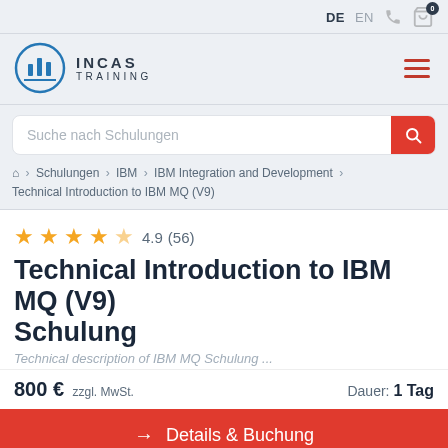DE  EN
[Figure (logo): INCAS Training logo — circular bar chart icon with text INCAS TRAINING]
Suche nach Schulungen
⌂ > Schulungen > IBM > IBM Integration and Development > Technical Introduction to IBM MQ (V9)
★★★★½ 4.9 (56)
Technical Introduction to IBM MQ (V9) Schulung
800 € zzgl. MwSt.   Dauer: 1 Tag
→ Details & Buchung